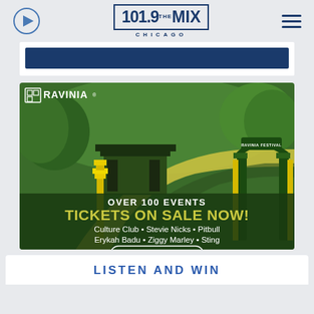[Figure (logo): 101.9 The Mix Chicago radio station logo with play button and hamburger menu]
[Figure (other): Dark blue horizontal banner bar]
[Figure (illustration): Ravinia Festival advertisement showing illustrated green park scene with gate, text: OVER 100 EVENTS, TICKETS ON SALE NOW!, Culture Club, Stevie Nicks, Pitbull, Erykah Badu, Ziggy Marley, Sting, VIEW FULL LINEUP button]
LISTEN AND WIN